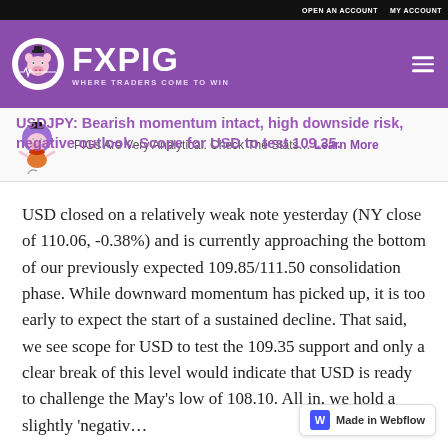OPEN AN ACCOUNT   MY ACCOUNT
[Figure (logo): FXPIG logo — circular pig mascot with WHERE TRADERS COME TO WIN tagline on purple background]
PIGs Are Very Analytical. Check The Stats… Learn More
USDJPY: Bearish momentum intact, high downside risk, negative outlook. Scope for USD to test 109.35.
USD closed on a relatively weak note yesterday (NY close of 110.06, -0.38%) and is currently approaching the bottom of our previously expected 109.85/111.50 consolidation phase. While downward momentum has picked up, it is too early to expect the start of a sustained decline. That said, we see scope for USD to test the 109.35 support and only a clear break of this level would indicate that USD is ready to challenge the May's low of 108.10. All in, we hold a slightly 'negativ…
[Figure (logo): Made in Webflow badge]